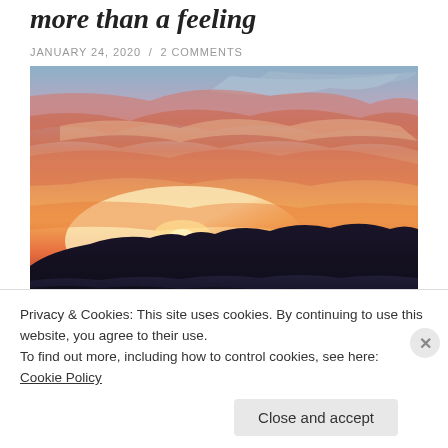more than a feeling
JANUARY 24, 2020 / 2 COMMENTS
[Figure (photo): Sunset landscape photograph showing dramatic orange, pink and blue clouds over dark silhouetted mountain ridgelines]
Privacy & Cookies: This site uses cookies. By continuing to use this website, you agree to their use.
To find out more, including how to control cookies, see here: Cookie Policy
Close and accept